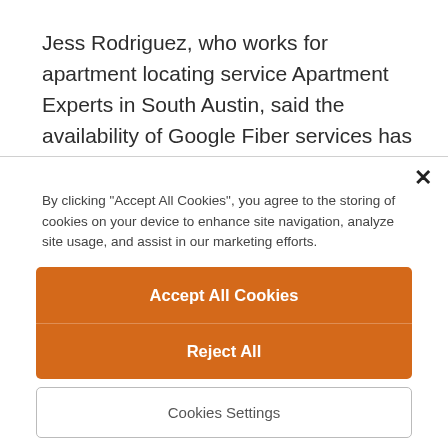Jess Rodriguez, who works for apartment locating service Apartment Experts in South Austin, said the availability of Google Fiber services has been a deciding factor for many of her clients.
"It's one of those things that are a make-or-break for some people," Rodriguez said. "It's absolutely one of
By clicking "Accept All Cookies", you agree to the storing of cookies on your device to enhance site navigation, analyze site usage, and assist in our marketing efforts.
Accept All Cookies
Reject All
Cookies Settings